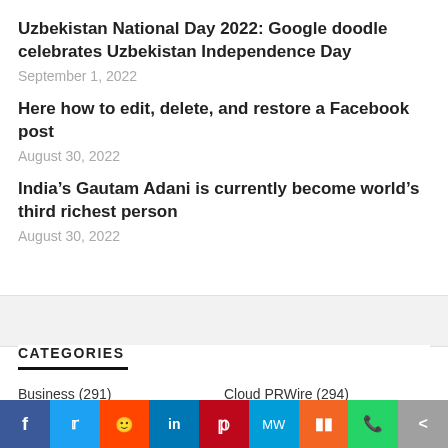Uzbekistan National Day 2022: Google doodle celebrates Uzbekistan Independence Day
September 1, 2022
Here how to edit, delete, and restore a Facebook post
August 30, 2022
India’s Gautam Adani is currently become world’s third richest person
August 30, 2022
CATEGORIES
Business (291)   Cloud PRWire (294)